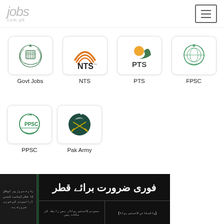jobs.com.pk
[Figure (logo): Govt Jobs logo - government emblem with wreath]
Govt Jobs
[Figure (logo): NTS logo - orange arcs with NTS text]
NTS
[Figure (logo): PTS logo - orange sun with swoosh]
PTS
[Figure (logo): FPSC logo - green government emblem]
FPSC
[Figure (logo): PPSC logo - green emblem with PPSC text]
PPSC
[Figure (logo): Pak Army logo - dark teal circle with crescent and swords]
Pak Army
[Figure (other): Urdu newspaper job advertisement - Fori Zaroorat Barae Qatar (Urgent Requirement for Qatar)]